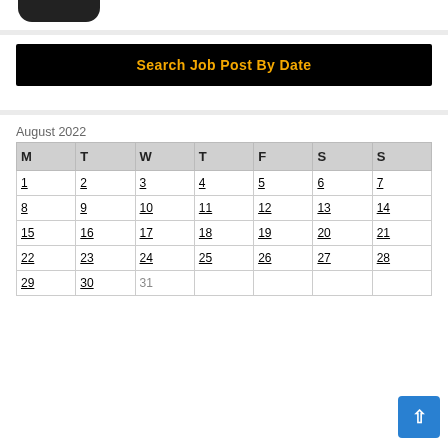[Figure (logo): Dark rounded logo/button at top left]
Search Job Post By Date
| M | T | W | T | F | S | S |
| --- | --- | --- | --- | --- | --- | --- |
| 1 | 2 | 3 | 4 | 5 | 6 | 7 |
| 8 | 9 | 10 | 11 | 12 | 13 | 14 |
| 15 | 16 | 17 | 18 | 19 | 20 | 21 |
| 22 | 23 | 24 | 25 | 26 | 27 | 28 |
| 29 | 30 | 31 |  |  |  |  |